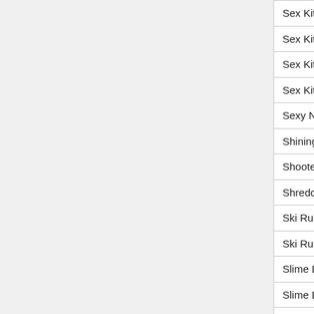| Game Title | Column 2 | Column 3 |
| --- | --- | --- |
| Sex Kitten Sim-Date 5 | N/A | N |
| Sex Kitten Sim-Date 6 | N/A | N |
| Sex Kitten Sim-RPG | N/A | N |
| Sex Kitten: Memories | N/A | N |
| Sexy No Jutso | N/A | N |
| Shining Mine | N/A | N |
| Shootermata | N/A | N |
| Shredding Goofy | N/A | N |
| Ski Runner | N/A | N |
| Ski Runner 2 | N/A | N |
| Slime Laboratory | N/A | N |
| Slime Laboratory 2 | N/A | N |
| Smacky | N/A | N |
| Sode's Foreplay | N/A | N |
| Sola Rola - The Gravity Maze | N/A | N |